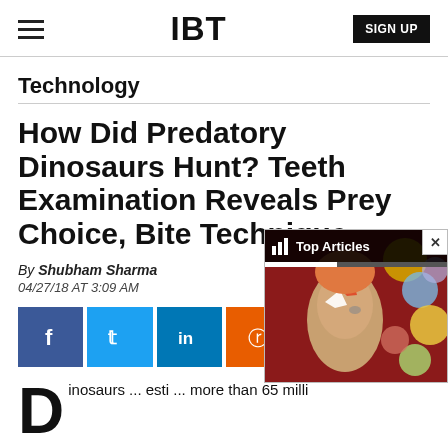IBT | SIGN UP
Technology
How Did Predatory Dinosaurs Hunt? Teeth Examination Reveals Prey Choice, Bite Technique
By Shubham Sharma
04/27/18 AT 3:09 AM
[Figure (screenshot): Social sharing buttons: Facebook, Twitter, LinkedIn, Reddit, Flipboard, Email]
[Figure (screenshot): Popup overlay with 'Top Articles' bar and an image of a person with face paint (David Bowie style) against a colorful background]
D inosaurs...